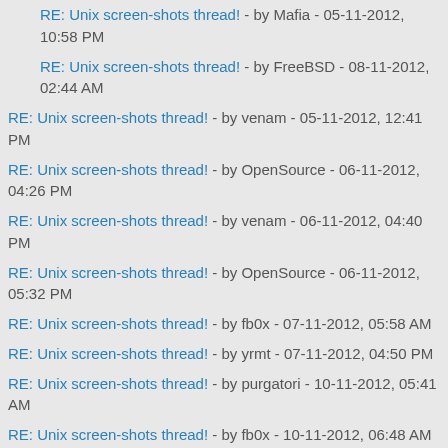RE: Unix screen-shots thread! - by Mafia - 05-11-2012, 10:58 PM
RE: Unix screen-shots thread! - by FreeBSD - 08-11-2012, 02:44 AM
RE: Unix screen-shots thread! - by venam - 05-11-2012, 12:41 PM
RE: Unix screen-shots thread! - by OpenSource - 06-11-2012, 04:26 PM
RE: Unix screen-shots thread! - by venam - 06-11-2012, 04:40 PM
RE: Unix screen-shots thread! - by OpenSource - 06-11-2012, 05:32 PM
RE: Unix screen-shots thread! - by fb0x - 07-11-2012, 05:58 AM
RE: Unix screen-shots thread! - by yrmt - 07-11-2012, 04:50 PM
RE: Unix screen-shots thread! - by purgatori - 10-11-2012, 05:41 AM
RE: Unix screen-shots thread! - by fb0x - 10-11-2012, 06:48 AM
RE: Unix screen-shots thread! - by venam - 10-11-2012, 05:06 PM
RE: Unix screen-shots thread! - by yrmt - 10-11-2012, 06:35